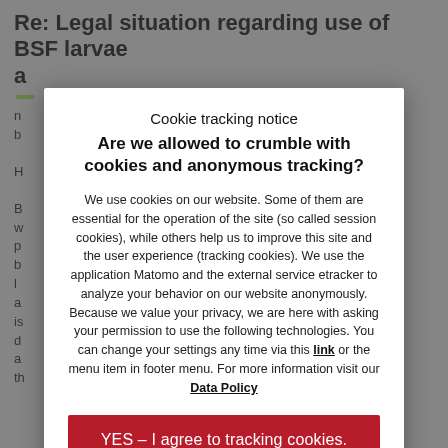Re: Legal situation regarding use of BSF larvae
a
n   8
b
H
B
w
p
b
l
a
is
d
a
th
Cookie tracking notice
Are we allowed to crumble with cookies and anonymous tracking?
We use cookies on our website. Some of them are essential for the operation of the site (so called session cookies), while others help us to improve this site and the user experience (tracking cookies). We use the application Matomo and the external service etracker to analyze your behavior on our website anonymously. Because we value your privacy, we are here with asking your permission to use the following technologies. You can change your settings any time via this link or the menu item in footer menu. For more information visit our Data Policy
YES – I agree to tracking cookies.
No thanks – I agree to session cookies only.
e